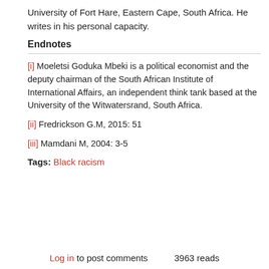University of Fort Hare, Eastern Cape, South Africa. He writes in his personal capacity.
Endnotes
[i] Moeletsi Goduka Mbeki is a political economist and the deputy chairman of the South African Institute of International Affairs, an independent think tank based at the University of the Witwatersrand, South Africa.
[ii] Fredrickson G.M, 2015: 51
[iii] Mamdani M, 2004: 3-5
Tags: Black racism
Log in to post comments      3963 reads